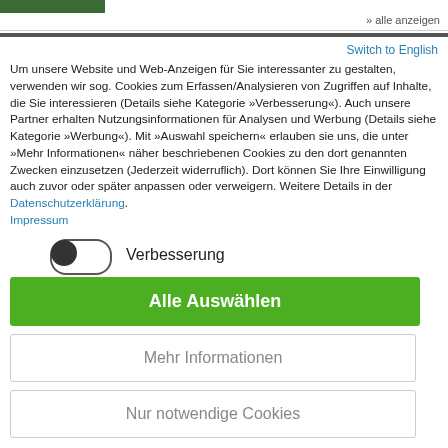[Figure (photo): Green image/logo in top left corner]
» alle anzeigen
Switch to English
Um unsere Website und Web-Anzeigen für Sie interessanter zu gestalten, verwenden wir sog. Cookies zum Erfassen/Analysieren von Zugriffen auf Inhalte, die Sie interessieren (Details siehe Kategorie »Verbesserung«). Auch unsere Partner erhalten Nutzungsinformationen für Analysen und Werbung (Details siehe Kategorie »Werbung«). Mit »Auswahl speichern« erlauben sie uns, die unter »Mehr Informationen« näher beschriebenen Cookies zu den dort genannten Zwecken einzusetzen (Jederzeit widerruflich). Dort können Sie Ihre Einwilligung auch zuvor oder später anpassen oder verweigern. Weitere Details in der Datenschutzerklärung. Impressum
Verbesserung
Alle Auswählen
Mehr Informationen
Nur notwendige Cookies